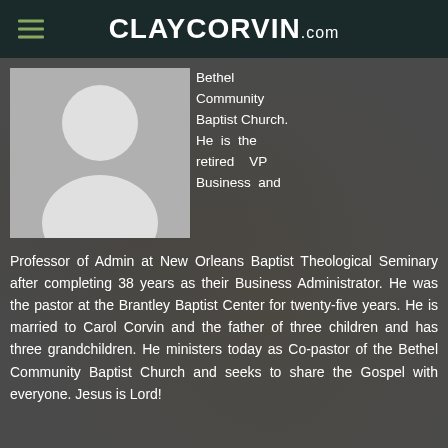CLAYCORVIN.com
[Figure (illustration): Default grey silhouette/placeholder profile photo of a person]
Bethel Community Baptist Church. He is the retired VP Business and Professor of Admin at New Orleans Baptist Theological Seminary after completing 38 years as their Business Administrator. He was the pastor at the Brantley Baptist Center for twenty-five years. He is married to Carol Corvin and the father of three children and has three grandchildren. He ministers today as Co-pastor of the Bethel Community Baptist Church and seeks to share the Gospel with everyone. Jesus is Lord!